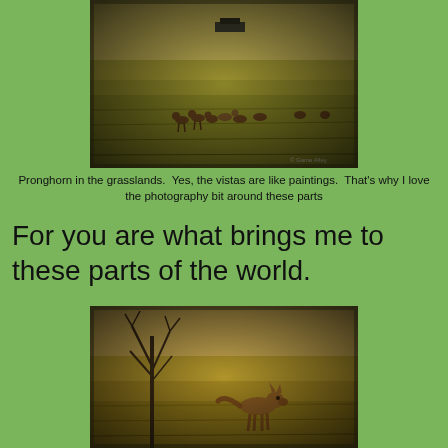[Figure (photo): Pronghorn antelope grazing in wide open grasslands with a warm, sepia-toned, painterly look. A herd of animals is visible in the middle distance against a vast grassy plain.]
Pronghorn in the grasslands.  Yes, the vistas are like paintings.  That's why I love the photography bit around these parts
For you are what brings me to these parts of the world.
[Figure (photo): A coyote standing in dry grasslands near a bare tree, photographed with warm sepia tones.]